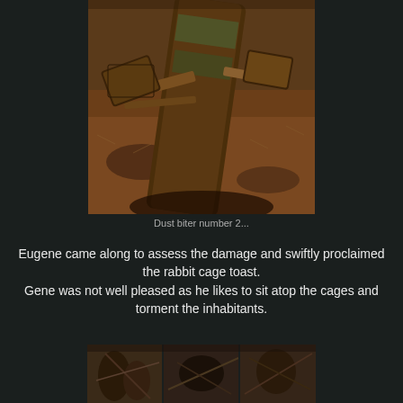[Figure (photo): A fallen tree log resting on top of crushed wooden rabbit cages on a forest floor covered with pine needles and leaves. Wooden cage frames are visible underneath the large mossy log.]
Dust biter number 2...
Eugene came along to assess the damage and swiftly proclaimed the rabbit cage toast.
Gene was not well pleased as he likes to sit atop the cages and torment the inhabitants.
[Figure (photo): Three side-by-side photos showing fallen and broken tree branches and debris in a wooded area.]